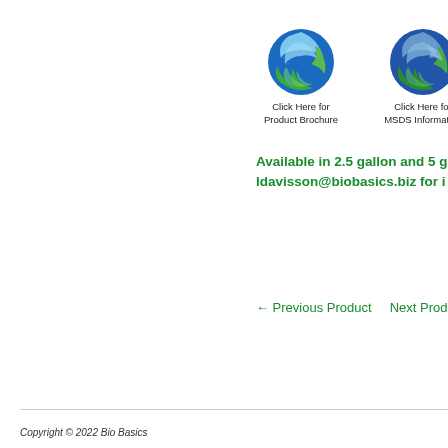[Figure (logo): Globe/swirl icon for Product Brochure link with text 'Click Here for Product Brochure']
[Figure (logo): Globe/swirl icon for MSDS Information link with text 'Click Here for MSDS Information']
Available in 2.5 gallon and 5 g... ldavisson@biobasics.biz for i...
← Previous Product   Next Product →
Copyright © 2022 Bio Basics